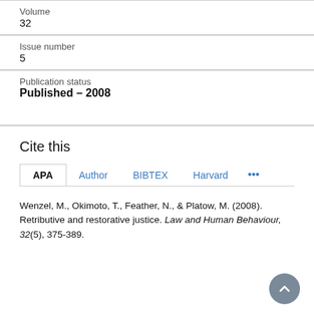Volume
32
Issue number
5
Publication status
Published – 2008
Cite this
APA   Author   BIBTEX   Harvard   •••
Wenzel, M., Okimoto, T., Feather, N., & Platow, M. (2008). Retributive and restorative justice. Law and Human Behaviour, 32(5), 375-389.